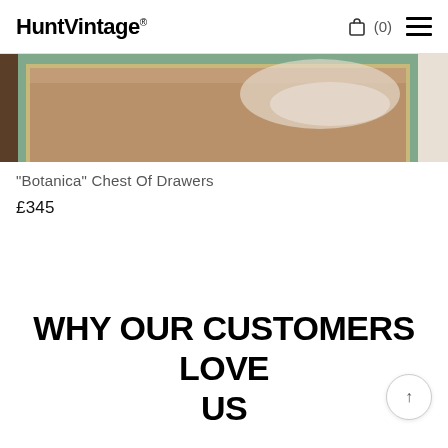HuntVintage® (0)
[Figure (photo): Partial view of a painted chest of drawers with sage green and gold frame detail against a light background]
“Botanica” Chest Of Drawers
£345
WHY OUR CUSTOMERS LOVE US